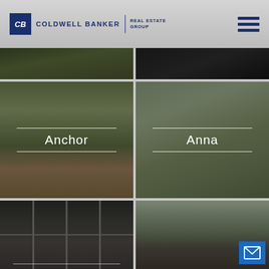Coldwell Banker Real Estate Group
[Figure (photo): Aerial view of neighborhood / dark interior]
[Figure (photo): Child playing with dog outdoors - labeled Anchor]
[Figure (photo): Interior window view with dining area - labeled Anna]
[Figure (photo): Modern windows exterior view]
[Figure (photo): Rooftops and trees street view with mail icon]